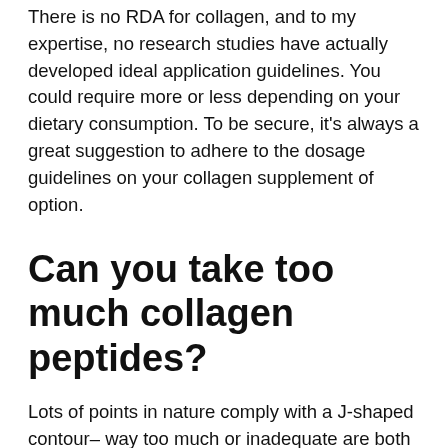There is no RDA for collagen, and to my expertise, no research studies have actually developed ideal application guidelines. You could require more or less depending on your dietary consumption. To be secure, it's always a great suggestion to adhere to the dosage guidelines on your collagen supplement of option.
Can you take too much collagen peptides?
Lots of points in nature comply with a J-shaped contour– way too much or inadequate are both poor. The exact same may be true for collagen supplements, yet unfortunately, there's no indication of what would make up "excessive." There's